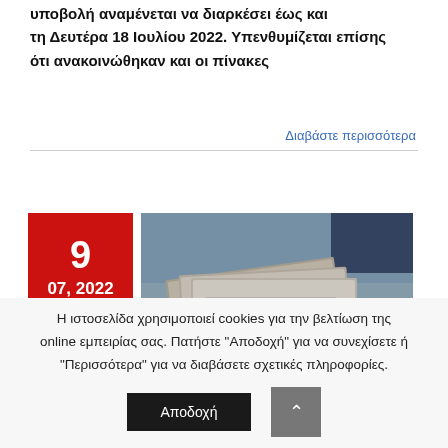υποβολή αναμένεται να διαρκέσει έως και τη Δευτέρα 18 Ιουλίου 2022. Υπενθυμίζεται επίσης ότι ανακοινώθηκαν και οι πίνακες
Διαβάστε περισσότερα
[Figure (photo): Red date box showing 9, 07, 2022 and a photo of documents/papers labeled 2022]
Η ιστοσελίδα χρησιμοποιεί cookies για την βελτίωση της online εμπειρίας σας. Πατήστε "Αποδοχή" για να συνεχίσετε ή "Περισσότερα" για να διαβάσετε σχετικές πληροφορίες.
Αποδοχή